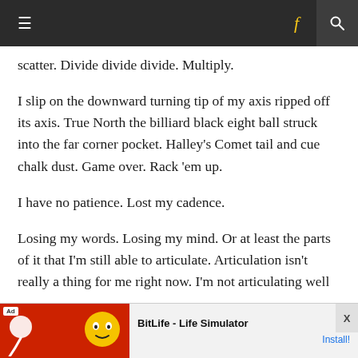≡   f   🔍
scatter. Divide divide divide. Multiply.
I slip on the downward turning tip of my axis ripped off its axis. True North the billiard black eight ball struck into the far corner pocket. Halley's Comet tail and cue chalk dust. Game over. Rack 'em up.
I have no patience. Lost my cadence.
Losing my words. Losing my mind. Or at least the parts of it that I'm still able to articulate. Articulation isn't really a thing for me right now. I'm not articulating well
[Figure (screenshot): Advertisement banner for BitLife - Life Simulator app with red background and cartoon character, showing Install! button]